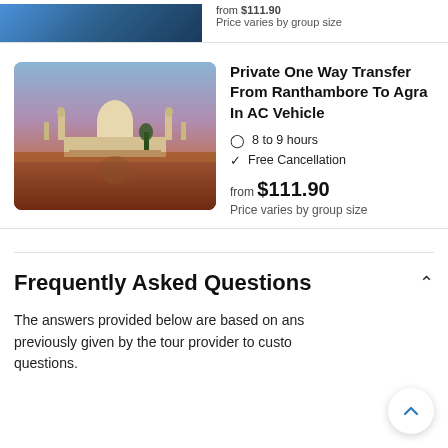[Figure (photo): Partial view of a travel destination image at top (cropped), showing blue sky and water scene]
from $111.90
Price varies by group size
[Figure (photo): Photo of the Taj Mahal reflected in water at sunset/dusk with orange and purple sky tones]
Private One Way Transfer From Ranthambore To Agra In AC Vehicle
8 to 9 hours
Free Cancellation
from $111.90
Price varies by group size
Frequently Asked Questions
The answers provided below are based on answers previously given by the tour provider to customer questions.